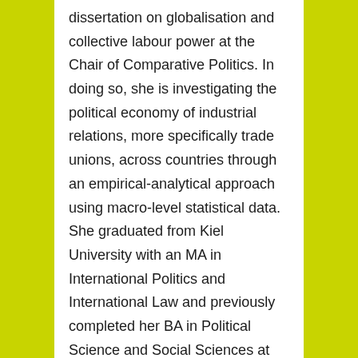dissertation on globalisation and collective labour power at the Chair of Comparative Politics. In doing so, she is investigating the political economy of industrial relations, more specifically trade unions, across countries through an empirical-analytical approach using macro-level statistical data. She graduated from Kiel University with an MA in International Politics and International Law and previously completed her BA in Political Science and Social Sciences at Bielefeld